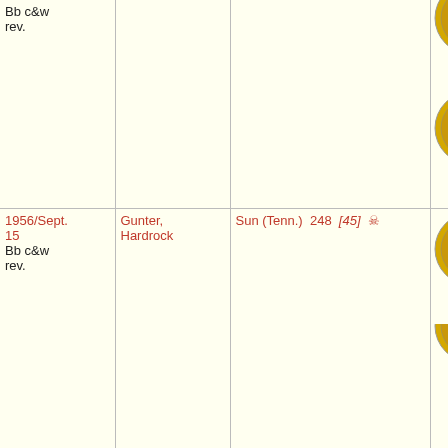| Date | Artist | Label/Cat# | Record Image |
| --- | --- | --- | --- |
| Bb c&w rev. |  |  |  |
| 1956/Sept. 15
Bb c&w rev. | Gunter, Hardrock | Sun (Tenn.)  248  [45]  ☠ |  |